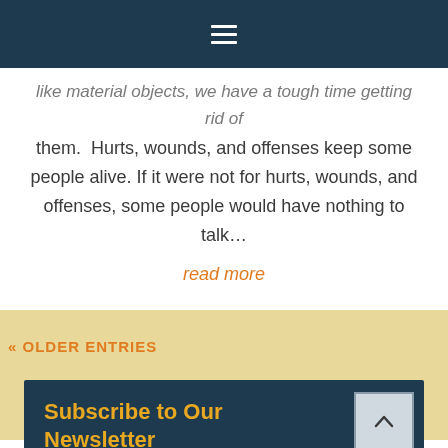Navigation bar with hamburger menu icon
like material objects, we have a tough time getting rid of them.  Hurts, wounds, and offenses keep some people alive. If it were not for hurts, wounds, and offenses, some people would have nothing to talk…
read more
« OLDER ENTRIES
Subscribe to Our Newsletter
And Get Your FREE Youth